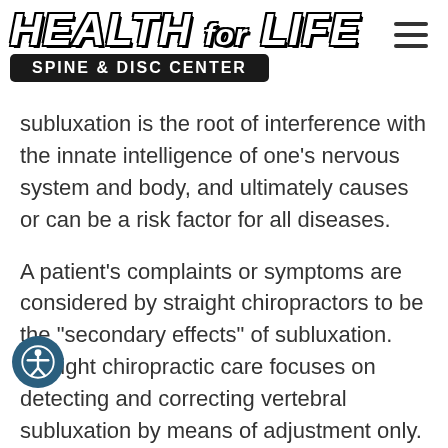[Figure (logo): Health for Life Spine & Disc Center logo with italic styled text and dark banner subtitle]
subluxation is the root of interference with the innate intelligence of one's nervous system and body, and ultimately causes or can be a risk factor for all diseases.
A patient's complaints or symptoms are considered by straight chiropractors to be the "secondary effects" of subluxation. Straight chiropractic care focuses on detecting and correcting vertebral subluxation by means of adjustment only. They do not mix their therapy or boost it with any alternative practices. They focus on traditional chiropractic terms like "right with